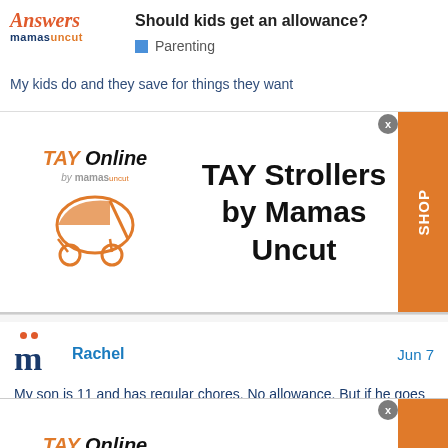Should kids get an allowance? | Parenting | Answers mamasuncut
My kids do and they save for things they want
[Figure (advertisement): TAY Online by mamas - TAY Strollers by Mamas Uncut advertisement with stroller logo and orange SHOP button]
Rachel   Jun 7
My son is 11 and has regular chores. No allowance. But if he goes above and beyond or helps us with big projects he gets paid. He gets to keep half his money and I invest the other half into a youth Roth IRA. He just got paid $60 for good grades. He gets to keep $30. We found this
[Figure (advertisement): TAY Online by mamas - Modern Baby Strollers advertisement with stroller logo and orange SHOP button]